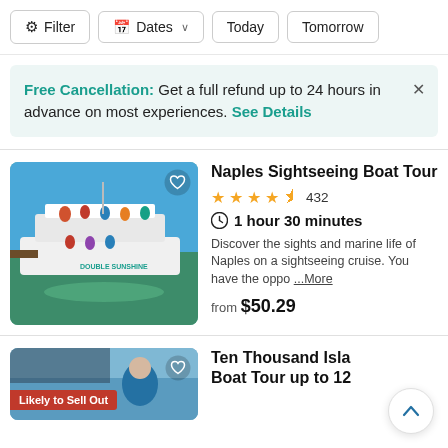Filter | Dates | Today | Tomorrow
Free Cancellation: Get a full refund up to 24 hours in advance on most experiences. See Details
Naples Sightseeing Boat Tour
★★★★½  432
1 hour 30 minutes
Discover the sights and marine life of Naples on a sightseeing cruise. You have the oppo ...More
from $50.29
[Figure (photo): A double-decker sightseeing boat called Double Sunshine on turquoise water in Naples]
Ten Thousand Isla Boat Tour up to 12
[Figure (photo): Partial image of a boat tour with a person in a blue jacket, with a red 'Likely to Sell Out' badge]